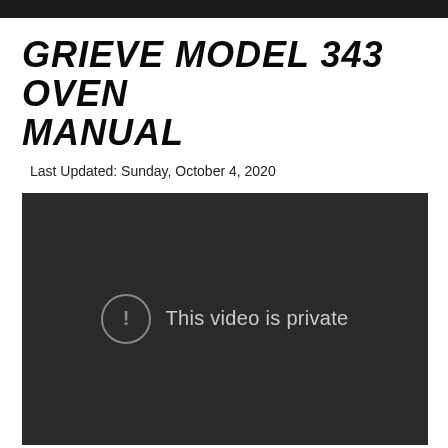GRIEVE MODEL 343 OVEN MANUAL
Last Updated: Sunday, October 4, 2020
[Figure (screenshot): Embedded video player showing a dark background with a circular exclamation mark icon and the text 'This video is private']